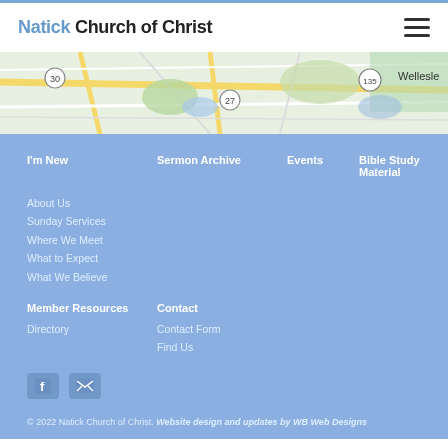Natick Church of Christ
[Figure (map): Google Maps showing Natick area roads with route 30 and 27 markers, green areas (parks/water), and Wellesley label]
I'm New
About Us
Sunday Services
Where We Meet
What to Expect
What We Believe
Sermon Archive
Events
Bible Study Material
Member Resources
Directory
Contact
Contact Form
Find Us
[Figure (other): Facebook icon and email/envelope icon]
© 2022 Natick Church of Christ. Website design and updates by WB Web Designs